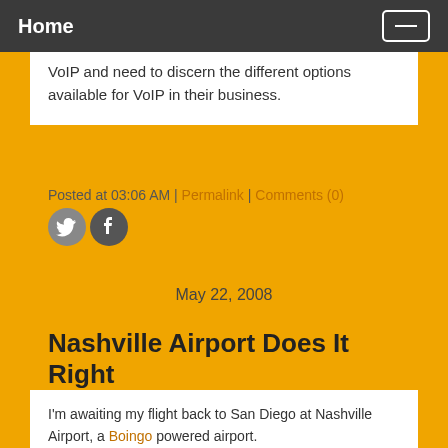Home
VoIP and need to discern the different options available for VoIP in their business.
Posted at 03:06 AM | Permalink | Comments (0)
[Figure (illustration): Twitter and Facebook social sharing icons]
May 22, 2008
Nashville Airport Does It Right
I'm awaiting my flight back to San Diego at Nashville Airport, a Boingo powered airport.
My logon using either my Asus eee PC 900 or the Mac